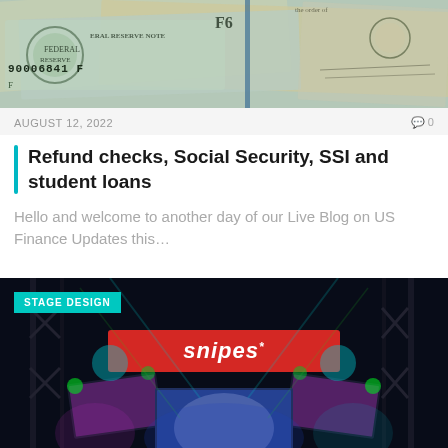[Figure (photo): Close-up photo of US dollar bills showing Federal Reserve Note text, serial number 90006841F, and F6 designation]
AUGUST 12, 2022    0
Refund checks, Social Security, SSI and student loans
Hello and welcome to another day of our Live Blog on US Finance Updates this…
[Figure (photo): Concert stage design photo showing Snipes branded red LED banner, colorful stage lighting with teal, green and purple lights, and scaffolding structure. STAGE DESIGN label in upper left.]